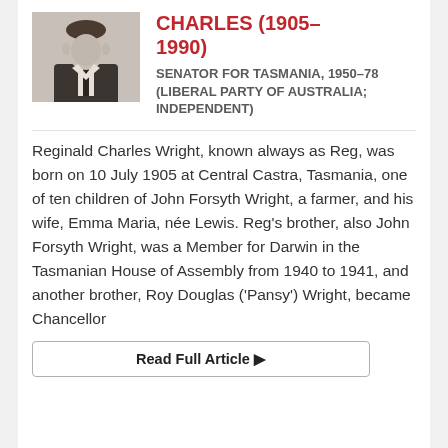[Figure (photo): Black and white portrait photograph of Reginald Charles Wright]
CHARLES (1905–1990)
SENATOR FOR TASMANIA, 1950–78 (LIBERAL PARTY OF AUSTRALIA; INDEPENDENT)
Reginald Charles Wright, known always as Reg, was born on 10 July 1905 at Central Castra, Tasmania, one of ten children of John Forsyth Wright, a farmer, and his wife, Emma Maria, née Lewis. Reg's brother, also John Forsyth Wright, was a Member for Darwin in the Tasmanian House of Assembly from 1940 to 1941, and another brother, Roy Douglas ('Pansy') Wright, became Chancellor
Read Full Article ▶